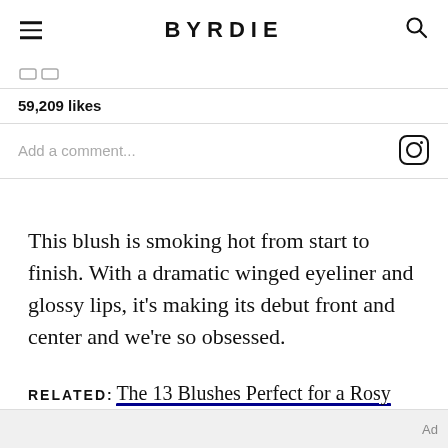BYRDIE
[Figure (screenshot): Instagram embed showing 59,209 likes and a comment input field with Instagram camera icon]
This blush is smoking hot from start to finish. With a dramatic winged eyeliner and glossy lips, it's making its debut front and center and we're so obsessed.
RELATED: The 13 Blushes Perfect for a Rosy Glow
Ad